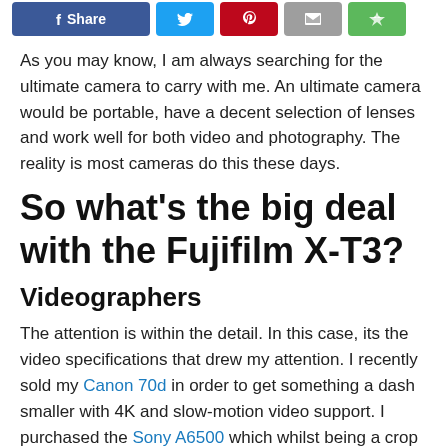[Figure (other): Social sharing button bar with Facebook Share, Twitter, Pinterest, Email, and green share buttons]
As you may know, I am always searching for the ultimate camera to carry with me. An ultimate camera would be portable, have a decent selection of lenses and work well for both video and photography. The reality is most cameras do this these days.
So what's the big deal with the Fujifilm X-T3?
Videographers
The attention is within the detail. In this case, its the video specifications that drew my attention. I recently sold my Canon 70d in order to get something a dash smaller with 4K and slow-motion video support. I purchased the Sony A6500 which whilst being a crop sensor, has all the features of the Sony A7 iii that everyone has been raving about.
4K